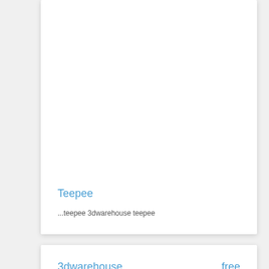Teepee
...teepee 3dwarehouse teepee
3dwarehouse
free